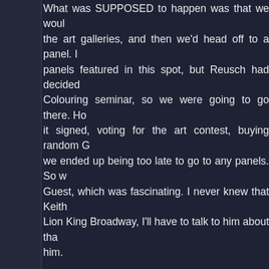What was SUPPOSED to happen was that we would visit the art galleries, and then we'd head off to a panel. I had panels featured in this spot, but Reusch had decided Colouring seminar, so we were going to go there. However it signed, voting for the art contest, buying random G we ended up being too late to go to any panels. So we Guest, which was fascinating. I never knew that Keith Lion King Broadway, I'll have to talk to him about that him.
After the Mug A Guest was closing ceremonies, which durge. We were all tired from the con, and sad that it ceremonies were fun! Karine started off in french, while I don't remember everything, I remember the fi my english!" That got chuckles from all us french pec others. The artists got their awards (the art was AWE winners were announced (we tied for third with Clan we were never technically under third place ^^ GROO Massage was in second (congrats to Flanker and all International came in first and won snazzy t-shirts, sc were a blast, and I can't wait to participate again. Las